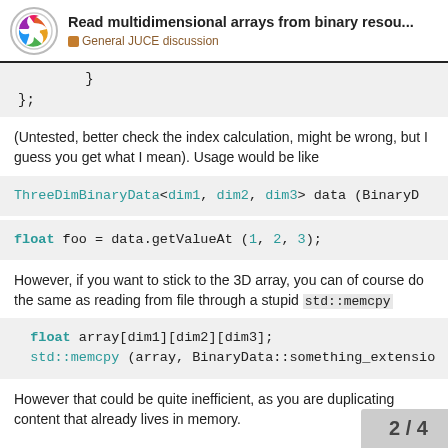Read multidimensional arrays from binary resou... — General JUCE discussion
(Untested, better check the index calculation, might be wrong, but I guess you get what I mean). Usage would be like
However, if you want to stick to the 3D array, you can of course do the same as reading from file through a stupid std::memcpy
However that could be quite inefficient, as you are duplicating content that already lives in memory.
2 / 4